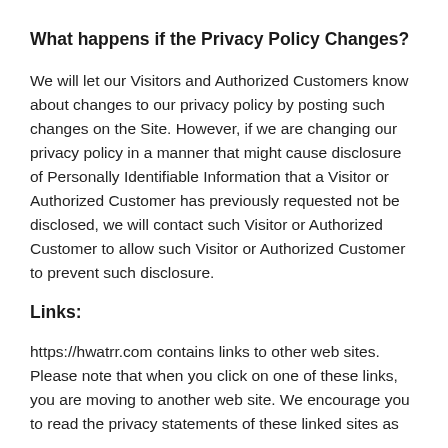What happens if the Privacy Policy Changes?
We will let our Visitors and Authorized Customers know about changes to our privacy policy by posting such changes on the Site. However, if we are changing our privacy policy in a manner that might cause disclosure of Personally Identifiable Information that a Visitor or Authorized Customer has previously requested not be disclosed, we will contact such Visitor or Authorized Customer to allow such Visitor or Authorized Customer to prevent such disclosure.
Links:
https://hwatrr.com contains links to other web sites. Please note that when you click on one of these links, you are moving to another web site. We encourage you to read the privacy statements of these linked sites as